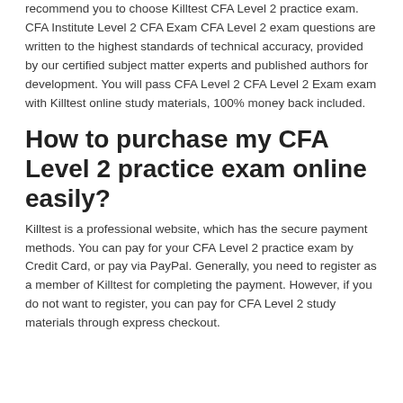recommend you to choose Killtest CFA Level 2 practice exam. CFA Institute Level 2 CFA Exam CFA Level 2 exam questions are written to the highest standards of technical accuracy, provided by our certified subject matter experts and published authors for development. You will pass CFA Level 2 CFA Level 2 Exam exam with Killtest online study materials, 100% money back included.
How to purchase my CFA Level 2 practice exam online easily?
Killtest is a professional website, which has the secure payment methods. You can pay for your CFA Level 2 practice exam by Credit Card, or pay via PayPal. Generally, you need to register as a member of Killtest for completing the payment. However, if you do not want to register, you can pay for CFA Level 2 study materials through express checkout.